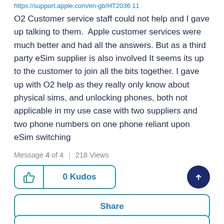https://support.apple.com/en-gb/HT2036 11
O2 Customer service staff could not help and I gave up talking to them. Apple customer services were much better and had all the answers. But as a third party eSim supplier is also involved It seems its up to the customer to join all the bits together. I gave up with O2 help as they really only know about physical sims, and unlocking phones, both not applicable in my use case with two suppliers and two phone numbers on one phone reliant upon eSim switching
Message 4 of 4 | 218 Views
0 Kudos
Share